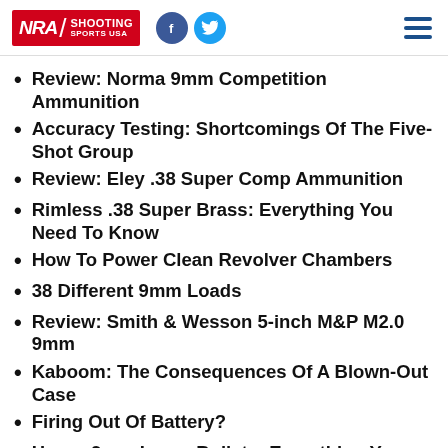NRA Shooting Sports USA
Review: Norma 9mm Competition Ammunition
Accuracy Testing: Shortcomings Of The Five-Shot Group
Review: Eley .38 Super Comp Ammunition
Rimless .38 Super Brass: Everything You Need To Know
How To Power Clean Revolver Chambers
38 Different 9mm Loads
Review: Smith & Wesson 5-inch M&P M2.0 9mm
Kaboom: The Consequences Of A Blown-Out Case
Firing Out Of Battery?
Heavy 9mm Luger Bullets: Everything You